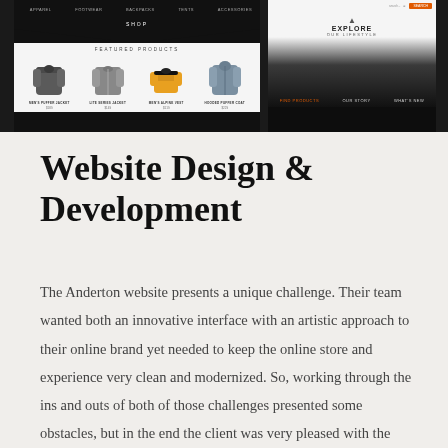[Figure (screenshot): Two website screenshots side by side on a dark background. Left screenshot shows an outdoor apparel e-commerce site with navigation, a 'SHOP' label, chevron shape, 'FEATURED PRODUCTS' section with four jacket product images (men's puffer, grey jacket, men's alpine vest, hooded jacket) with names and prices. Right screenshot shows an outdoor lifestyle brand site with a search bar/nav, an 'EXPLORE OUR LIFESTYLE' logo/heading with a mountain tent scene in dark tones and column navigation labels at the bottom.]
Website Design & Development
The Anderton website presents a unique challenge. Their team wanted both an innovative interface with an artistic approach to their online brand yet needed to keep the online store and experience very clean and modernized. So, working through the ins and outs of both of those challenges presented some obstacles, but in the end the client was very pleased with the